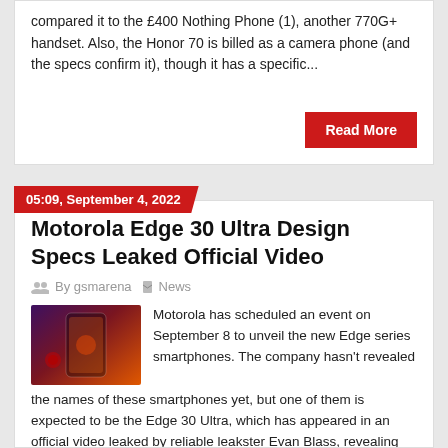compared it to the £400 Nothing Phone (1), another 770G+ handset. Also, the Honor 70 is billed as a camera phone (and the specs confirm it), though it has a specific...
Read More
05:09, September 4, 2022
Motorola Edge 30 Ultra Design Specs Leaked Official Video
By gsmarena  News
[Figure (photo): Photo of Motorola Edge 30 Ultra phone with orange glow on dark purple/red background]
Motorola has scheduled an event on September 8 to unveil the new Edge series smartphones. The company hasn't revealed the names of these smartphones yet, but one of them is expected to be the Edge 30 Ultra, which has appeared in an official video leaked by reliable leakster Evan Blass, revealing the Edge 30 Ultra design and has more. The Motorola Edg...